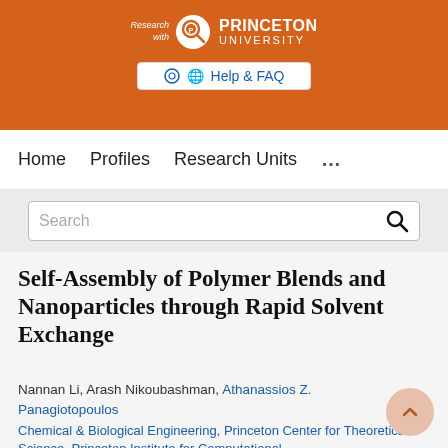[Figure (logo): Princeton University Research with logo mark and 'Research with Princeton University' text on orange background, with Help & FAQ button]
Home   Profiles   Research Units   ...
Search
Self-Assembly of Polymer Blends and Nanoparticles through Rapid Solvent Exchange
Nannan Li, Arash Nikoubashman, Athanassios Z. Panagiotopoulos
Chemical & Biological Engineering, Princeton Center for Theoretical Science, Princeton Institute for Computational